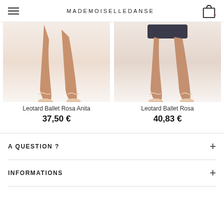MADEMOISELLEDANSE
[Figure (photo): Two product images side by side showing ballet dancers' legs wearing pointe shoes. Left image: legs with pink pointe shoes on white background. Right image: legs with dark shorts and pink pointe shoes on white background.]
Leotard Ballet Rosa Anita
37,50 €
Leotard Ballet Rosa
40,83 €
A QUESTION ?
INFORMATIONS